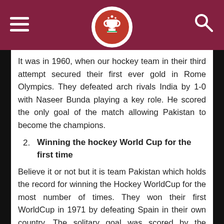Sports website header with logo
It was in 1960, when our hockey team in their third attempt secured their first ever gold in Rome Olympics. They defeated arch rivals India by 1-0 with Naseer Bunda playing a key role. He scored the only goal of the match allowing Pakistan to become the champions.
2. Winning the hockey World Cup for the first time
Believe it or not but it is team Pakistan which holds the record for winning the Hockey WorldCup for the most number of times. They won their first WorldCup in 1971 by defeating Spain in their own country. The solitary goal was scored by the incomparable Tanvir Dar, who later went on to score 8 goals in the tournament, which made him